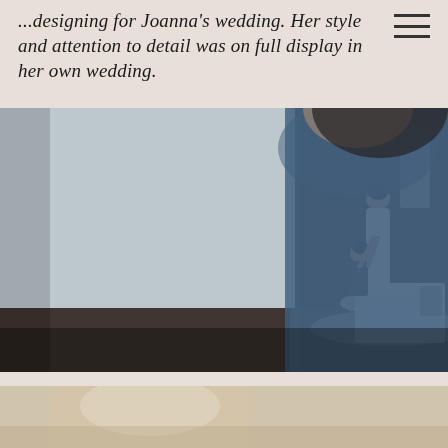attention to detail was on full display in her own wedding.
[Figure (photo): Wedding preparation scene: a bride in a white gown being helped by a person kneeling behind her, adjusting the dress. In the foreground on the right, a blurred person in a blue dress observing. The room has a black accent wall and light blue-grey walls.]
[Figure (photo): Bottom partial photo, appears to show a wedding-related scene, cut off at page edge.]